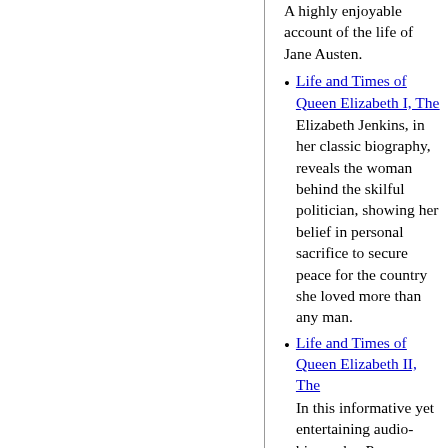A highly enjoyable account of the life of Jane Austen.
Life and Times of Queen Elizabeth I, The — Elizabeth Jenkins, in her classic biography, reveals the woman behind the skilful politician, showing her belief in personal sacrifice to secure peace for the country she loved more than any man.
Life and Times of Queen Elizabeth II, The — In this informative yet entertaining audio-biography, Pearson Phillips reflects on Queen Elizabeth II , her life and times.
Middle East, The